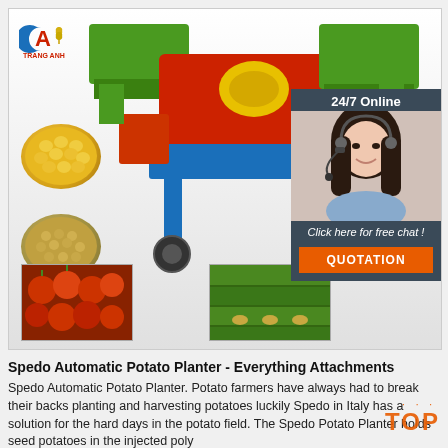[Figure (photo): Agricultural machine (grain thresher/planter) in red and green colors, with yellow corn kernels and tan grain seeds on left, tomato plants and green crops at bottom, company logo top left, 24/7 online customer service chat overlay with woman wearing headset on right side]
Spedo Automatic Potato Planter - Everything Attachments
Spedo Automatic Potato Planter. Potato farmers have always had to break their backs planting and harvesting potatoes luckily Spedo in Italy has a solution for the hard days in the potato field. The Spedo Potato Planter holds seed potatoes in the injected poly